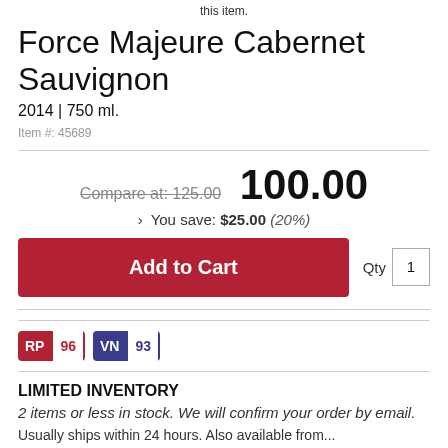this item.
Force Majeure Cabernet Sauvignon
2014 | 750 ml.
Item #: 45689
Compare at: 125.00  100.00
› You save: $25.00 (20%)
Add to Cart  Qty 1
[Figure (infographic): RP 96 and VN 93 rating badges]
LIMITED INVENTORY
2 items or less in stock. We will confirm your order by email.
Usually ships within 24 hours. Also available from...